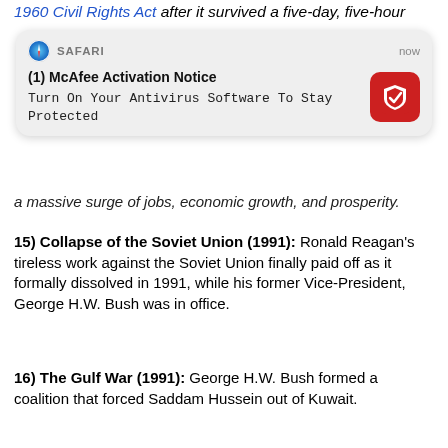1960 Civil Rights Act after it survived a five-day, five-hour
[Figure (screenshot): Safari browser notification popup showing McAfee Activation Notice: 'Turn On Your Antivirus Software To Stay Protected' with McAfee logo icon on the right. The header shows Safari icon, 'SAFARI' label, and 'now' timestamp.]
a massive surge of jobs, economic growth, and prosperity.
15) Collapse of the Soviet Union (1991): Ronald Reagan's tireless work against the Soviet Union finally paid off as it formally dissolved in 1991, while his former Vice-President, George H.W. Bush was in office.
16) The Gulf War (1991): George H.W. Bush formed a coalition that forced Saddam Hussein out of Kuwait.
17) Welfare reform (1996): After Clinton vetoed two previous versions of welfare reform, Republicans sent it back to him a third time and he finally reluctantly agreed to fulfill has campaign promise and sign the bill.
18) A Republican Congress balances the budget (1998-2001): Republicans in Congress forced an unenthusiastic Bill Clinton to balance the budget in his second term.
19) Retaliation in Afghanistan (2001): After the 9/11 attacks